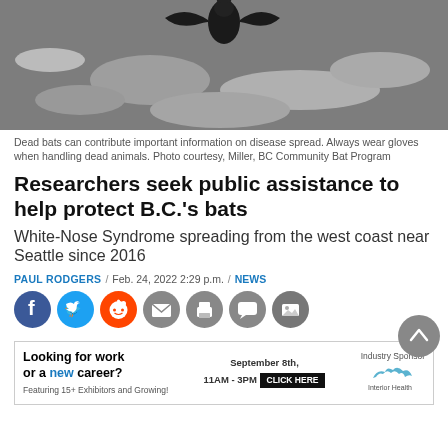[Figure (photo): Dead bat lying on rocks/gravel, photographed from above]
Dead bats can contribute important information on disease spread. Always wear gloves when handling dead animals. Photo courtesy, Miller, BC Community Bat Program
Researchers seek public assistance to help protect B.C.'s bats
White-Nose Syndrome spreading from the west coast near Seattle since 2016
PAUL RODGERS / Feb. 24, 2022 2:29 p.m. / NEWS
[Figure (infographic): Social sharing buttons: Facebook, Twitter, Reddit, Email, Print, Comment, Gallery, and a scroll-to-top button]
[Figure (infographic): Advertisement banner: Looking for work or a new career? September 8th, 11AM-3PM, Featuring 15+ Exhibitors and Growing! CLICK HERE. Industry Sponsor: Interior Health]